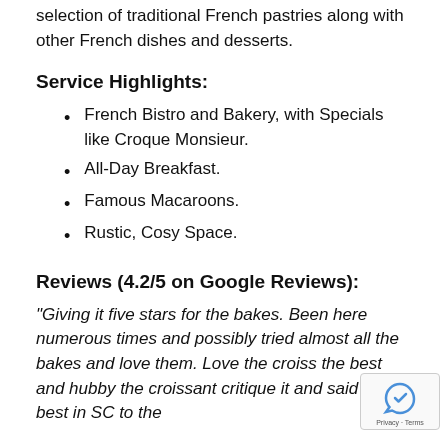selection of traditional French pastries along with other French dishes and desserts.
Service Highlights:
French Bistro and Bakery, with Specials like Croque Monsieur.
All-Day Breakfast.
Famous Macaroons.
Rustic, Cosy Space.
Reviews (4.2/5 on Google Reviews):
“Giving it five stars for the bakes. Been here numerous times and possibly tried almost all the bakes and love them. Love the croiss the best and hubby the croissant critique it and said the best in SC to the